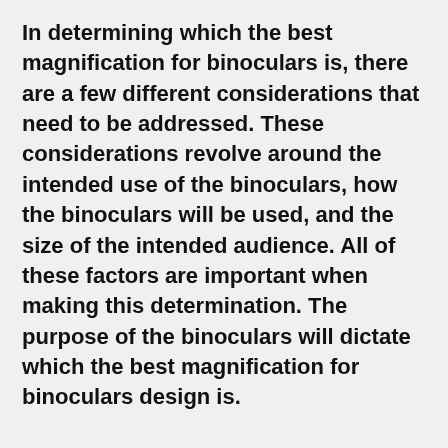In determining which the best magnification for binoculars is, there are a few different considerations that need to be addressed. These considerations revolve around the intended use of the binoculars, how the binoculars will be used, and the size of the intended audience. All of these factors are important when making this determination. The purpose of the binoculars will dictate which the best magnification for binoculars design is.
First, when determining which the best magnification for binoculars design is, one must determine what the intended use of the binoculars will be. This will be dictated by the intended use of the binoculars. If the binoculars will be used to view wildlife then the magnification of the binoculars may be a critical factor in determining